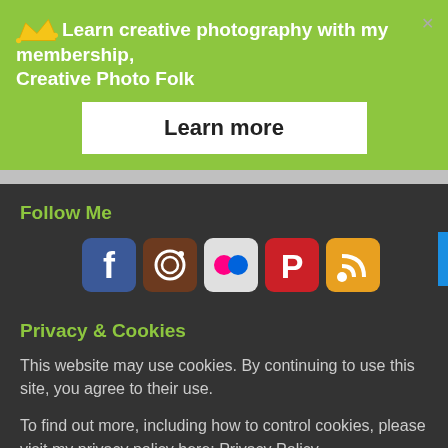Learn creative photography with my membership, Creative Photo Folk
Learn more
Follow Me
[Figure (infographic): Row of 5 social media icons: Facebook, Instagram, Flickr, Pinterest, RSS feed]
Privacy & Cookies
This website may use cookies. By continuing to use this site, you agree to their use.
To find out more, including how to control cookies, please visit my privacy policy here: Privacy Policy